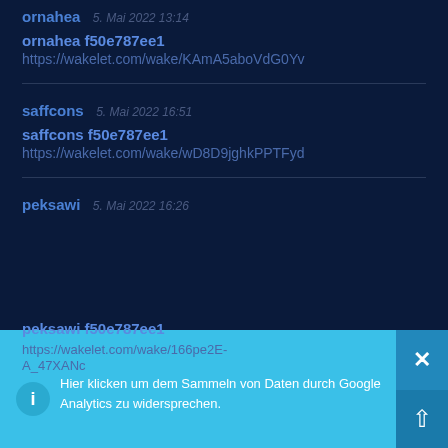ornahea  5. Mai 2022 13:14
ornahea f50e787ee1
https://wakelet.com/wake/KAmA5aboVdG0Yv
saffcons  5. Mai 2022 16:51
saffcons f50e787ee1
https://wakelet.com/wake/wD8D9jghkPPTFyd
peksawi  5. Mai 2022 16:26
peksawi f50e787ee1
https://wakelet.com/wake/166pe2E-A_47XANc
Hier klicken um dem Sammeln von Daten durch Google Analytics zu widersprechen.